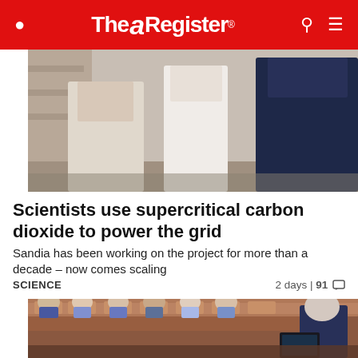The Register
[Figure (photo): Two people standing in a hallway or corridor, partial view of their torsos]
Scientists use supercritical carbon dioxide to power the grid
Sandia has been working on the project for more than a decade – now comes scaling
SCIENCE   2 days | 91 💬
[Figure (photo): Classroom scene with students seated in tiered lecture hall seating, a grey-haired presenter from behind holding a tablet]